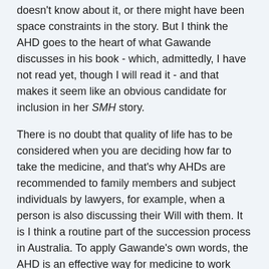doesn't know about it, or there might have been space constraints in the story. But I think the AHD goes to the heart of what Gawande discusses in his book - which, admittedly, I have not read yet, though I will read it - and that makes it seem like an obvious candidate for inclusion in her SMH story.
There is no doubt that quality of life has to be considered when you are deciding how far to take the medicine, and that's why AHDs are recommended to family members and subject individuals by lawyers, for example, when a person is also discussing their Will with them. It is I think a routine part of the succession process in Australia. To apply Gawande's own words, the AHD is an effective way for medicine to work with the individual. Of course, nurses in nursing homes will always consult with family members about types of care to provide when a crisis arrives, as it eventually will in all cases. The subject's GP might also go beyond the actual words of the AHD and talk with family members about specific details of the case in order to find out definitively where to stop. As in the case of organ donation - where an individual might sign up for the program